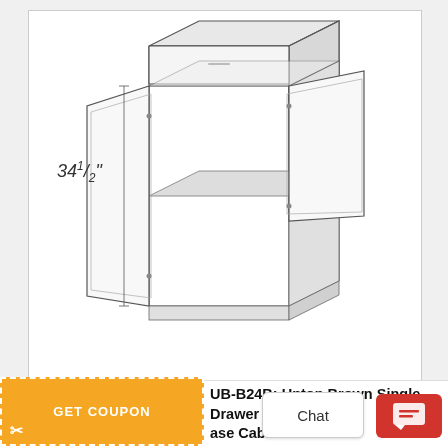[Figure (engineering-diagram): 3D isometric line drawing of a kitchen base cabinet with single drawer on top and two doors open, showing interior shelf. Dimension label '34 1/2"' shown on left side indicating height.]
UB-B24B: Upton Brown Single-Drawer Single-Door Base Cabinet 24"W